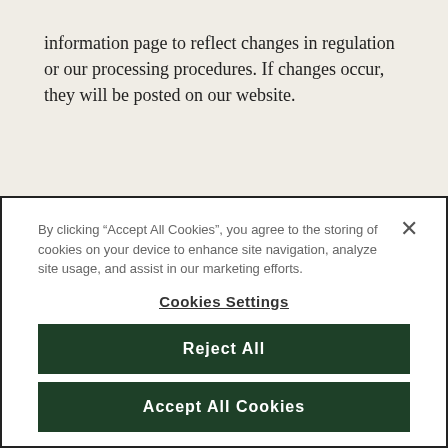information page to reflect changes in regulation or our processing procedures. If changes occur, they will be posted on our website.
By clicking “Accept All Cookies”, you agree to the storing of cookies on your device to enhance site navigation, analyze site usage, and assist in our marketing efforts.
Cookies Settings
Reject All
Accept All Cookies